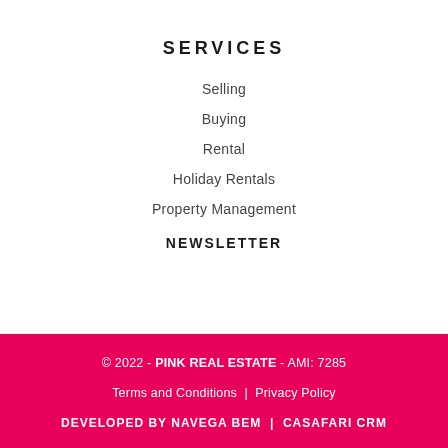SERVICES
Selling
Buying
Rental
Holiday Rentals
Property Management
NEWSLETTER
© 2022 - PINK REAL ESTATE - AMI: 7285 | Terms and Conditions | Privacy Policy | DEVELOPED BY NAVEGA BEM | CASAFARI CRM